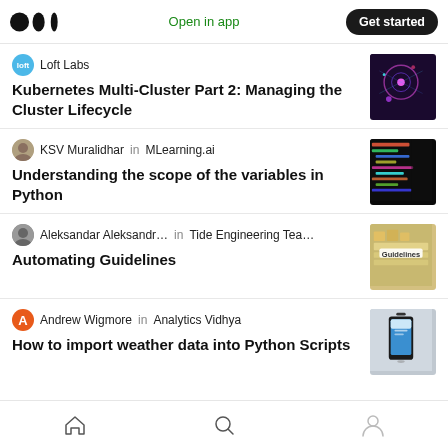Medium logo | Open in app | Get started
Loft Labs
Kubernetes Multi-Cluster Part 2: Managing the Cluster Lifecycle
KSV Muralidhar in MLearning.ai
Understanding the scope of the variables in Python
Aleksandar Aleksandr… in Tide Engineering Tea…
Automating Guidelines
Andrew Wigmore in Analytics Vidhya
How to import weather data into Python Scripts
Home | Search | Profile